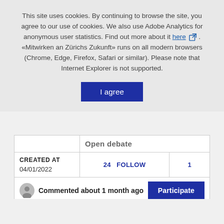This site uses cookies. By continuing to browse the site, you agree to our use of cookies. We also use Adobe Analytics for anonymous user statistics. Find out more about it here. «Mitwirken an Zürichs Zukunft» runs on all modern browsers (Chrome, Edge, Firefox, Safari or similar). Please note that Internet Explorer is not supported.
I agree
|  | Open debate |  |
| CREATED AT
04/01/2022 | 24   FOLLOW | 1 |
| Commented about 1 month ago | Participate |  |